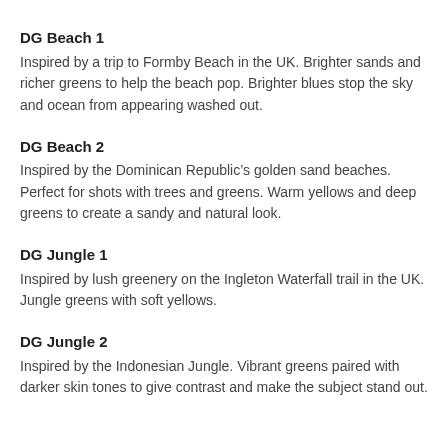DG Beach 1
Inspired by a trip to Formby Beach in the UK. Brighter sands and richer greens to help the beach pop. Brighter blues stop the sky and ocean from appearing washed out.
DG Beach 2
Inspired by the Dominican Republic’s golden sand beaches. Perfect for shots with trees and greens. Warm yellows and deep greens to create a sandy and natural look.
DG Jungle 1
Inspired by lush greenery on the Ingleton Waterfall trail in the UK. Jungle greens with soft yellows.
DG Jungle 2
Inspired by the Indonesian Jungle. Vibrant greens paired with darker skin tones to give contrast and make the subject stand out.